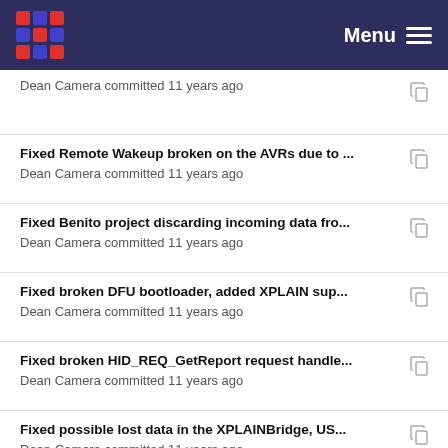Menu
Dean Camera committed 11 years ago
Fixed Remote Wakeup broken on the AVRs due to ...
Dean Camera committed 11 years ago
Fixed Benito project discarding incoming data fro...
Dean Camera committed 11 years ago
Fixed broken DFU bootloader, added XPLAIN sup...
Dean Camera committed 11 years ago
Fixed broken HID_REQ_GetReport request handle...
Dean Camera committed 11 years ago
Fixed possible lost data in the XPLAINBridge, US...
Dean Camera committed 11 years ago
Fixed possible programming problem in the AVRI...
Dean Camera committed 11 years ago
Altered all endpoint/pipe stream transfers so that t...